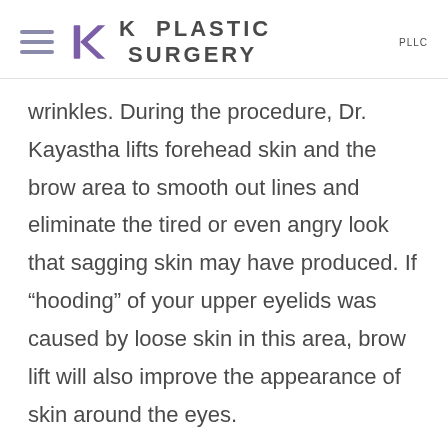K PLASTIC SURGERY PLLC
wrinkles. During the procedure, Dr. Kayastha lifts forehead skin and the brow area to smooth out lines and eliminate the tired or even angry look that sagging skin may have produced. If “hooding” of your upper eyelids was caused by loose skin in this area, brow lift will also improve the appearance of skin around the eyes.
Brow lift will also improve the appearance of crow’s feet, frown lines and deep lines on the